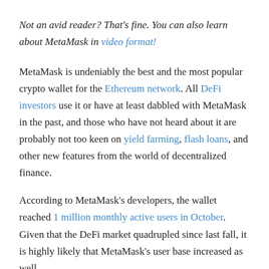Not an avid reader? That's fine. You can also learn about MetaMask in video format!
MetaMask is undeniably the best and the most popular crypto wallet for the Ethereum network. All DeFi investors use it or have at least dabbled with MetaMask in the past, and those who have not heard about it are probably not too keen on yield farming, flash loans, and other new features from the world of decentralized finance.
According to MetaMask's developers, the wallet reached 1 million monthly active users in October. Given that the DeFi market quadrupled since last fall, it is highly likely that MetaMask's user base increased as well.